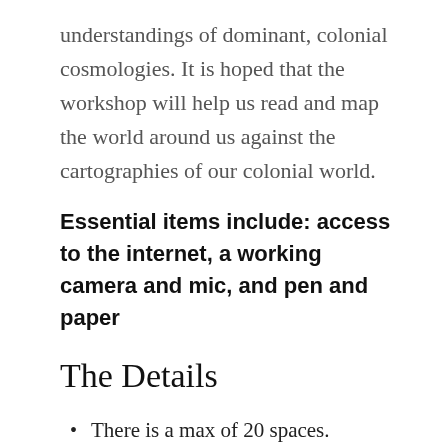understandings of dominant, colonial cosmologies. It is hoped that the workshop will help us read and map the world around us against the cartographies of our colonial world.
Essential items include: access to the internet, a working camera and mic, and pen and paper
The Details
There is a max of 20 spaces.
This seminar will be hosted online